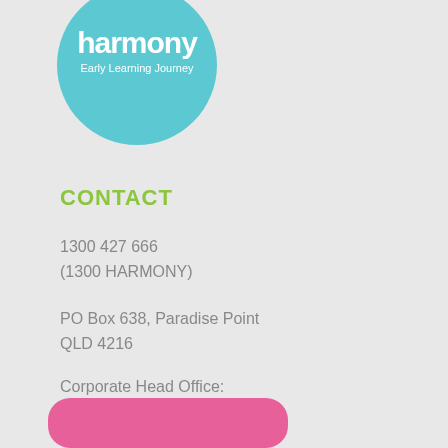[Figure (logo): Harmony Early Learning Journey circular logo in teal/turquoise color with white text]
CONTACT
1300 427 666
(1300 HARMONY)
PO Box 638, Paradise Point
QLD 4216
Corporate Head Office:
12 Halcyon Way,
Hope Island QLD 4212
[Figure (other): Pink/magenta rounded rectangle button at bottom of page]